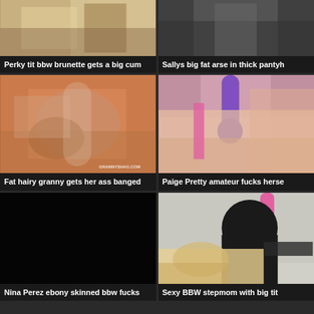[Figure (photo): Thumbnail image - top left video]
Perky tit bbw brunette gets a big cum
[Figure (photo): Thumbnail image - top right video]
Sallys big fat arse in thick pantyh
[Figure (photo): Thumbnail image - middle left video, grannyshag.com watermark]
Fat hairy granny gets her ass banged
[Figure (photo): Thumbnail image - middle right video]
Paige Pretty amateur fucks herse
[Figure (photo): Thumbnail image - bottom left, black/dark frame]
Nina Perez ebony skinned bbw fucks
[Figure (photo): Thumbnail image - bottom right video]
Sexy BBW stepmom with big tit